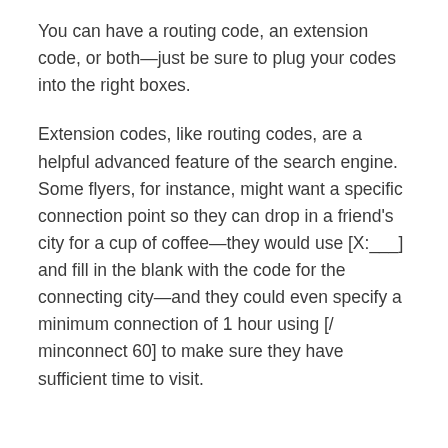You can have a routing code, an extension code, or both—just be sure to plug your codes into the right boxes.
Extension codes, like routing codes, are a helpful advanced feature of the search engine. Some flyers, for instance, might want a specific connection point so they can drop in a friend's city for a cup of coffee—they would use [X:___] and fill in the blank with the code for the connecting city—and they could even specify a minimum connection of 1 hour using [/ minconnect 60] to make sure they have sufficient time to visit.